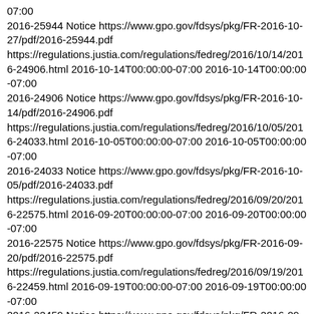07:00
2016-25944 Notice https://www.gpo.gov/fdsys/pkg/FR-2016-10-27/pdf/2016-25944.pdf
https://regulations.justia.com/regulations/fedreg/2016/10/14/2016-24906.html 2016-10-14T00:00:00-07:00 2016-10-14T00:00:00-07:00
2016-24906 Notice https://www.gpo.gov/fdsys/pkg/FR-2016-10-14/pdf/2016-24906.pdf
https://regulations.justia.com/regulations/fedreg/2016/10/05/2016-24033.html 2016-10-05T00:00:00-07:00 2016-10-05T00:00:00-07:00
2016-24033 Notice https://www.gpo.gov/fdsys/pkg/FR-2016-10-05/pdf/2016-24033.pdf
https://regulations.justia.com/regulations/fedreg/2016/09/20/2016-22575.html 2016-09-20T00:00:00-07:00 2016-09-20T00:00:00-07:00
2016-22575 Notice https://www.gpo.gov/fdsys/pkg/FR-2016-09-20/pdf/2016-22575.pdf
https://regulations.justia.com/regulations/fedreg/2016/09/19/2016-22459.html 2016-09-19T00:00:00-07:00 2016-09-19T00:00:00-07:00
2016-22459 Notice https://www.gpo.gov/fdsys/pkg/FR-2016-09-19/pdf/2016-22459.pdf
https://regulations.justia.com/regulations/fedreg/2016/09/14/2016-22056.html 2016-09-14T00:00:00-07:00 2016-09-14T00:00:00-